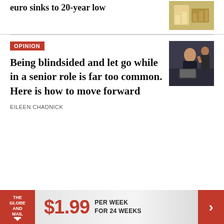euro sinks to 20-year low
[Figure (photo): Thumbnail image related to euro/finance story]
OPINION
Being blindsided and let go while in a senior role is far too common. Here is how to move forward
[Figure (photo): Thumbnail showing person in office distress]
EILEEN CHADNICK
[Figure (infographic): The Globe and Mail advertisement banner: $1.99 PER WEEK FOR 24 WEEKS]